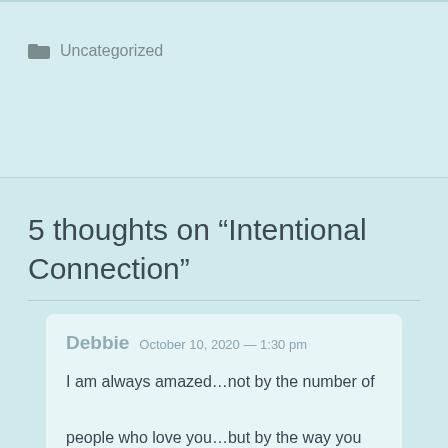Uncategorized
5 thoughts on “Intentional Connection”
Debbie  October 10, 2020 — 1:30 pm
I am always amazed…not by the number of people who love you…but by the way you are intentional about maintaining connections and